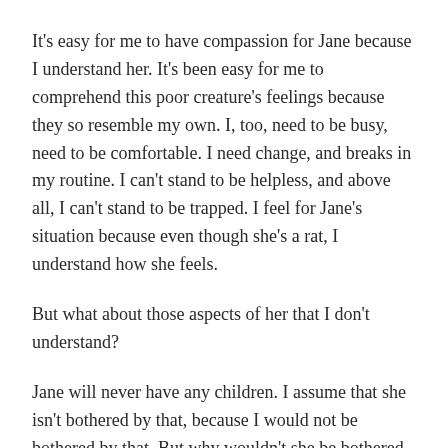It's easy for me to have compassion for Jane because I understand her. It's been easy for me to comprehend this poor creature's feelings because they so resemble my own. I, too, need to be busy, need to be comfortable. I need change, and breaks in my routine. I can't stand to be helpless, and above all, I can't stand to be trapped. I feel for Jane's situation because even though she's a rat, I understand how she feels.
But what about those aspects of her that I don't understand?
Jane will never have any children. I assume that she isn't bothered by that, because I would not be bothered by that. But why wouldn't she be bothered by that, like most other creatures? Who's to say she doesn't feel her biological clock ticking – that she doesn't feel as if something in her life is missing? For all I know, in her mind she's building and rebuilding her nest for babies that will never come. Maybe they're the reason she hoards what I feed her, the reason she